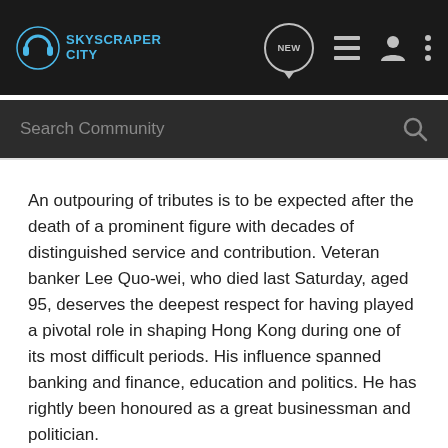SKYSCRAPER CITY
An outpouring of tributes is to be expected after the death of a prominent figure with decades of distinguished service and contribution. Veteran banker Lee Quo-wei, who died last Saturday, aged 95, deserves the deepest respect for having played a pivotal role in shaping Hong Kong during one of its most difficult periods. His influence spanned banking and finance, education and politics. He has rightly been honoured as a great businessman and politician.
Born into an influential family in 1918, Lee started as a cable clerk in a local bank and worked his way up to the helm of the Hang Seng Bank, known for its customer service. He proved his worth in the 1960s when rumours led to repeated runs on the bank. Within three days, he rescued the institution with a